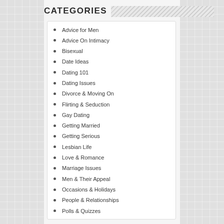CATEGORIES
Advice for Men
Advice On Intimacy
Bisexual
Date Ideas
Dating 101
Dating Issues
Divorce & Moving On
Flirting & Seduction
Gay Dating
Getting Married
Getting Serious
Lesbian Life
Love & Romance
Marriage Issues
Men & Their Appeal
Occasions & Holidays
People & Relationships
Polls & Quizzes